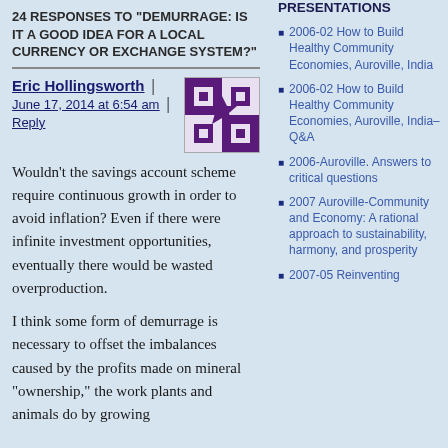24 RESPONSES TO "DEMURRAGE: IS IT A GOOD IDEA FOR A LOCAL CURRENCY OR EXCHANGE SYSTEM?"
Eric Hollingsworth | June 17, 2014 at 6:54 am | Reply
[Figure (illustration): Avatar/identicon image with purple and white geometric pattern]
Wouldn't the savings account scheme require continuous growth in order to avoid inflation? Even if there were infinite investment opportunities, eventually there would be wasted overproduction.
I think some form of demurrage is necessary to offset the imbalances caused by the profits made on mineral "ownership," the work plants and animals do by growing
PRESENTATIONS
2006-02 How to Build Healthy Community Economies, Auroville, India
2006-02 How to Build Healthy Community Economies, Auroville, India–Q&A
2006-Auroville. Answers to critical questions
2007 Auroville-Community and Economy: A rational approach to sustainability, harmony, and prosperity
2007-05 Reinventing